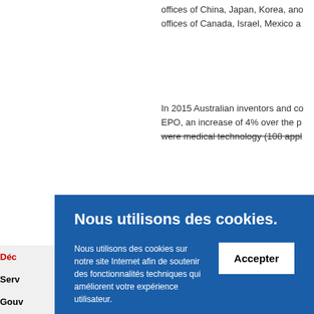offices of China, Japan, Korea, and offices of Canada, Israel, Mexico a
In 2015 Australian inventors and co EPO, an increase of 4% over the p were medical technology (108 appl
Nous utilisons des cookies.
Nous utilisons des cookies sur notre site Internet afin de soutenir des fonctionnalités techniques qui améliorent votre expérience utilisateur.
Nous utilisons également des fonctions d'analyse Web. Accédez à toutes les informations sur les cookies utilisés et sur la manière de les gérer.
Accepter
Déc
es
Serv
Gouv